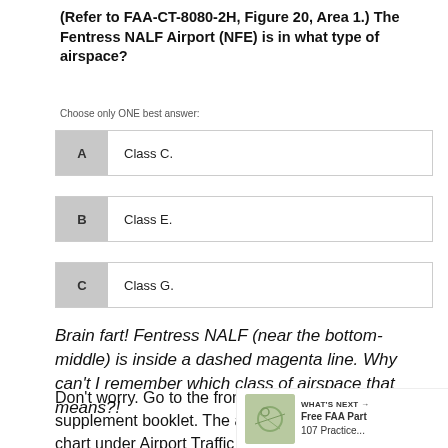(Refer to FAA-CT-8080-2H, Figure 20, Area 1.) The Fentress NALF Airport (NFE) is in what type of airspace?
Choose only ONE best answer:
A  Class C.
B  Class E.
C  Class G.
Brain fart! Fentress NALF (near the bottom-middle) is inside a dashed magenta line. Why can't I remember which class of airspace that means?!
Don't worry. Go to the front of the testing supplement booklet. The answer is right there on the chart under Airport Traffic Service And